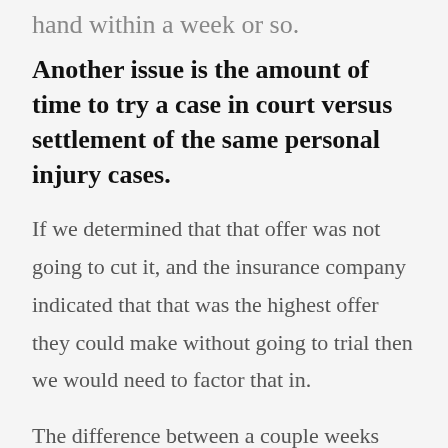hand within a week or so.
Another issue is the amount of time to try a case in court versus settlement of the same personal injury cases.
If we determined that that offer was not going to cut it, and the insurance company indicated that that was the highest offer they could make without going to trial then we would need to factor that in.
The difference between a couple weeks